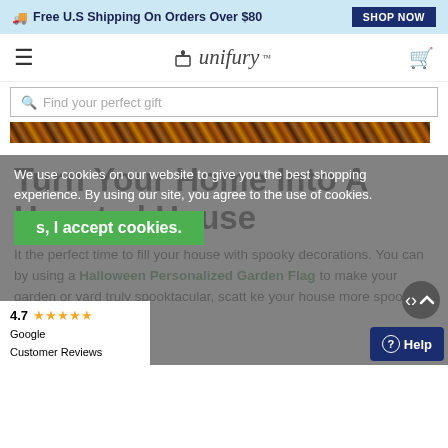Free U.S Shipping On Orders Over $80   SHOP NOW
[Figure (logo): Unifury logo with gift box icon and stylized italic text 'unifury' with TM mark]
Find your perfect gift
[Figure (photo): Partial hero image strip showing autumn/Halloween themed foliage in browns and oranges]
Turn Your Home Into A Haunted House
We use cookies on our website to give you the best shopping experience. By using our site, you agree to the use of cookies.
s, I accept cookies.
It the perfect time to fill your house with spooky decorations. You can by using a Halloween Personalized Garden Flag to make your garden or yard truly spooktacular, scatt ke your house more spooky!
4.7 ★★★★★ Google Customer Reviews
Help